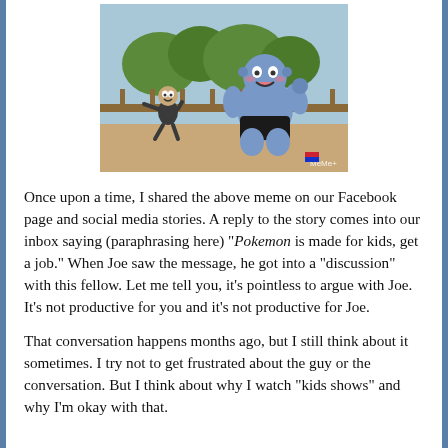[Figure (illustration): Anime screenshot from Pokémon showing a large blue Machamp-like creature chasing a smaller dark-clothed character, outdoors with trees and a fence in the background. Watermark 'MeMe+' visible in bottom right corner.]
Once upon a time, I shared the above meme on our Facebook page and social media stories. A reply to the story comes into our inbox saying (paraphrasing here) "Pokemon is made for kids, get a job." When Joe saw the message, he got into a "discussion" with this fellow. Let me tell you, it's pointless to argue with Joe. It's not productive for you and it's not productive for Joe.
That conversation happens months ago, but I still think about it sometimes. I try not to get frustrated about the guy or the conversation. But I think about why I watch "kids shows" and why I'm okay with that.